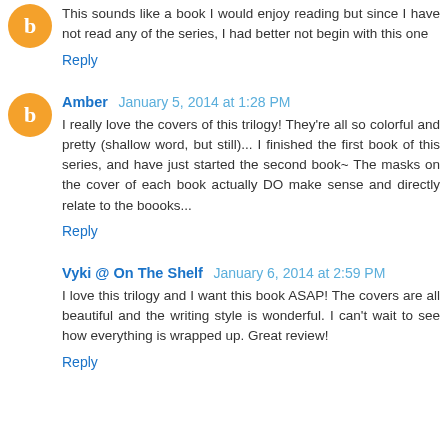This sounds like a book I would enjoy reading but since I have not read any of the series, I had better not begin with this one
Reply
Amber  January 5, 2014 at 1:28 PM
I really love the covers of this trilogy! They're all so colorful and pretty (shallow word, but still)... I finished the first book of this series, and have just started the second book~ The masks on the cover of each book actually DO make sense and directly relate to the boooks...
Reply
Vyki @ On The Shelf  January 6, 2014 at 2:59 PM
I love this trilogy and I want this book ASAP! The covers are all beautiful and the writing style is wonderful. I can't wait to see how everything is wrapped up. Great review!
Reply